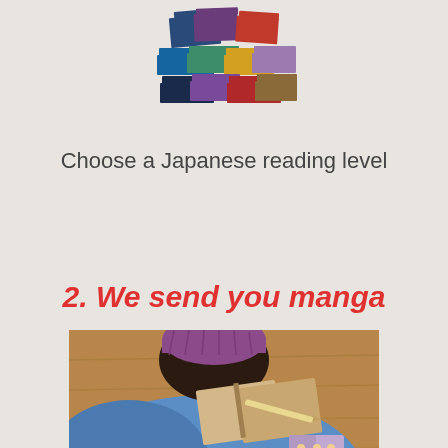[Figure (illustration): Stack of colorful books illustration at the top of the page]
Choose a Japanese reading level
2. We send you manga
[Figure (photo): Photo of a person wearing a blue jacket and purple beanie, reading manga on a wooden table]